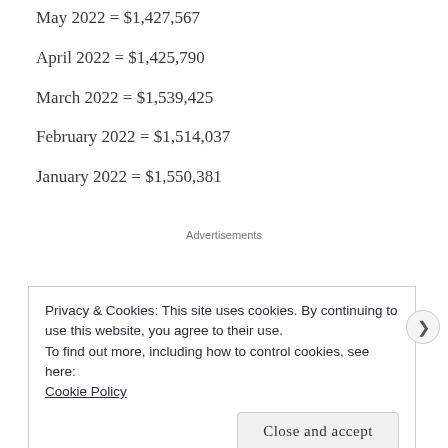May 2022 = $1,427,567
April 2022 = $1,425,790
March 2022 = $1,539,425
February 2022 = $1,514,037
January 2022 = $1,550,381
Advertisements
Privacy & Cookies: This site uses cookies. By continuing to use this website, you agree to their use.
To find out more, including how to control cookies, see here: Cookie Policy
Close and accept